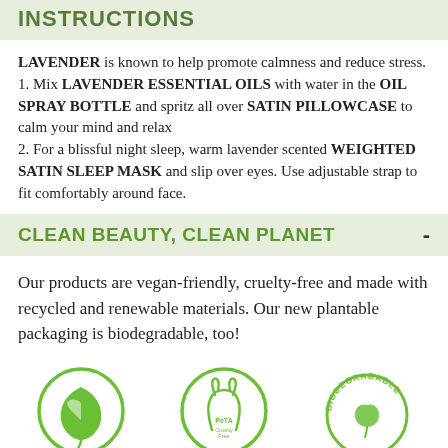INSTRUCTIONS
LAVENDER is known to help promote calmness and reduce stress.
1. Mix LAVENDER ESSENTIAL OILS with water in the OIL SPRAY BOTTLE and spritz all over SATIN PILLOWCASE to calm your mind and relax
2. For a blissful night sleep, warm lavender scented WEIGHTED SATIN SLEEP MASK and slip over eyes. Use adjustable strap to fit comfortably around face.
CLEAN BEAUTY, CLEAN PLANET
Our products are vegan-friendly, cruelty-free and made with recycled and renewable materials. Our new plantable packaging is biodegradable, too!
[Figure (logo): Three circular certification logos: a green leaf/vegan logo, a PETA Cruelty-free logo, and a Biodegradable logo with leaves]